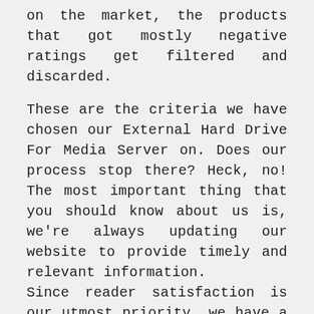on the market, the products that got mostly negative ratings get filtered and discarded.
These are the criteria we have chosen our External Hard Drive For Media Server on. Does our process stop there? Heck, no! The most important thing that you should know about us is, we're always updating our website to provide timely and relevant information.
Since reader satisfaction is our utmost priority, we have a final layer of filtration. And that is you, the reader! If you find any External Hard Drive For Media Server featured here Incorrect, irrelevant, not up to the mark, or simply outdated, please let us know. Your feedback is always welcome and